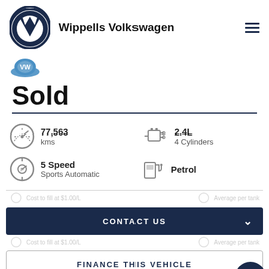[Figure (logo): Volkswagen VW circular logo in dark navy blue and white]
Wippells Volkswagen
[Figure (logo): Small blue badge/shield icon]
Sold
77,563 kms
2.4L 4 Cylinders
5 Speed Sports Automatic
Petrol
CONTACT US
FINANCE THIS VEHICLE